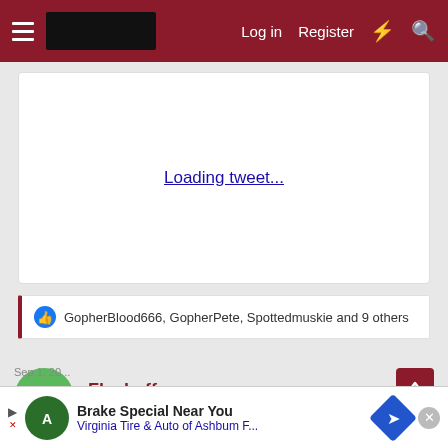Log in  Register
[Figure (screenshot): Loading tweet... link inside a white box]
GopherBlood666, GopherPete, Spottedmuskie and 9 others
Fleckoff
Well-known member
Sep 1, 20...
Brake Special Near You
Virginia Tire & Auto of Ashbum F...